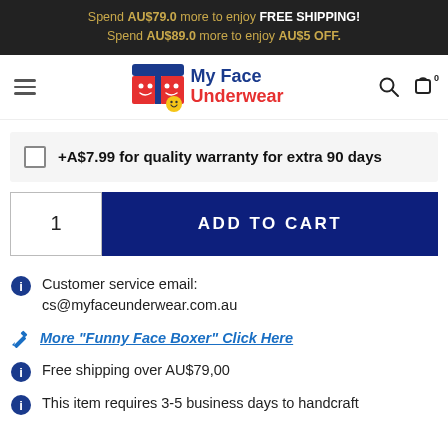Spend AU$79.0 more to enjoy FREE SHIPPING!
Spend AU$89.0 more to enjoy AU$5 OFF.
[Figure (logo): My Face Underwear logo with cartoon boxer briefs and smiley face icon, plus brand name in blue and red text]
+A$7.99 for quality warranty for extra 90 days
ADD TO CART (quantity: 1)
Customer service email: cs@myfaceunderwear.com.au
More "Funny Face Boxer" Click Here
Free shipping over AU$79,00
This item requires 3-5 business days to handcraft